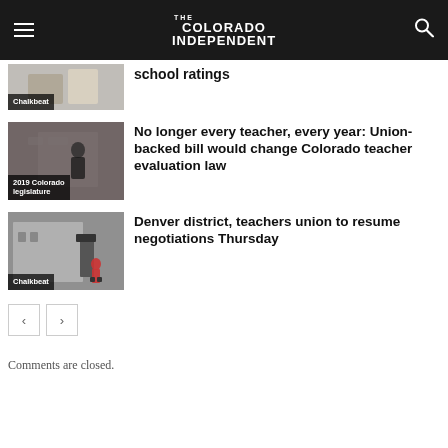The Colorado Independent
school ratings
[Figure (photo): Thumbnail photo labeled Chalkbeat showing blurred classroom scene]
[Figure (photo): Thumbnail photo labeled 2019 Colorado legislature showing person in front of brick wall]
No longer every teacher, every year: Union-backed bill would change Colorado teacher evaluation law
[Figure (photo): Thumbnail photo labeled Chalkbeat showing person walking near DPS building]
Denver district, teachers union to resume negotiations Thursday
Comments are closed.